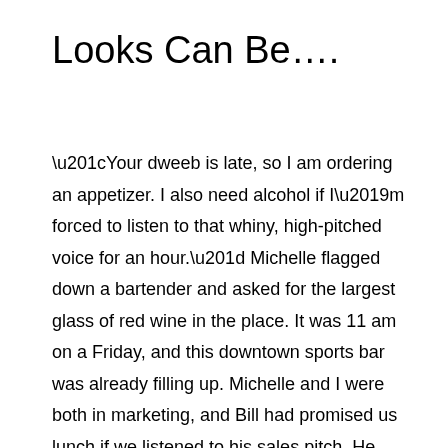Looks Can Be….
“Your dweeb is late, so I am ordering an appetizer. I also need alcohol if I’m forced to listen to that whiny, high-pitched voice for an hour.” Michelle flagged down a bartender and asked for the largest glass of red wine in the place. It was 11 am on a Friday, and this downtown sports bar was already filling up. Michelle and I were both in marketing, and Bill had promised us lunch if we listened to his sales pitch. He was selling air time on our local cable channels, which, at the time, was a relatively new concept. “Okay, Jeanne, What do you think